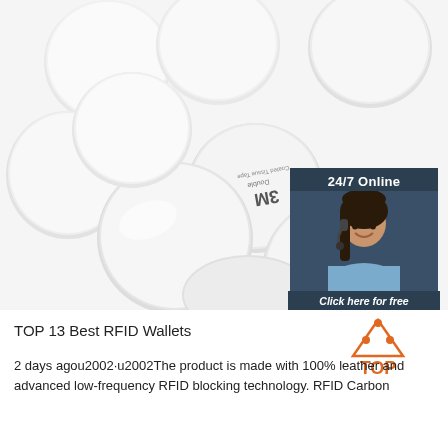[Figure (photo): Multiple white circular RFID coin tags/discs arranged in a circular pattern on a white background. One disc shows a 3M double-sided tape label. There is also a customer service chat widget overlay in the top right showing a woman with a headset, with '24/7 Online' text, 'Click here for free chat!' text, and an orange QUOTATION button.]
TOP 13 Best RFID Wallets
2 days agou2002·u2002The product is made with 100% leather and advanced low-frequency RFID blocking technology. RFID Carbon